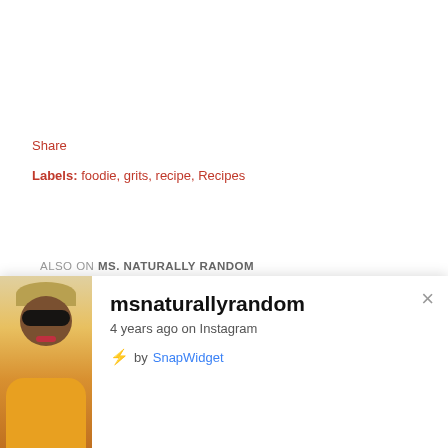Share
Labels: foodie, grits, recipe, Recipes
ALSO ON MS. NATURALLY RANDOM
[Figure (photo): Thumbnail image of Andouille Sausage dish with orange-brown background and white bar graph icons]
[Figure (photo): Thumbnail image partially visible with light gray background and text 'How To Style Yo']
[Figure (screenshot): Instagram SnapWidget popup showing msnaturallyrandom account, profile photo of woman with sunglasses and headwrap, text '4 years ago on Instagram' and 'by SnapWidget']